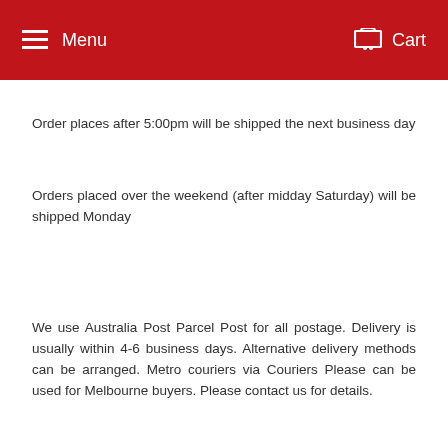Menu   Cart
Order places after 5:00pm will be shipped the next business day
Orders placed over the weekend (after midday Saturday) will be shipped Monday
We use Australia Post Parcel Post for all postage. Delivery is usually within 4-6 business days. Alternative delivery methods can be arranged. Metro couriers via Couriers Please can be used for Melbourne buyers. Please contact us for details.